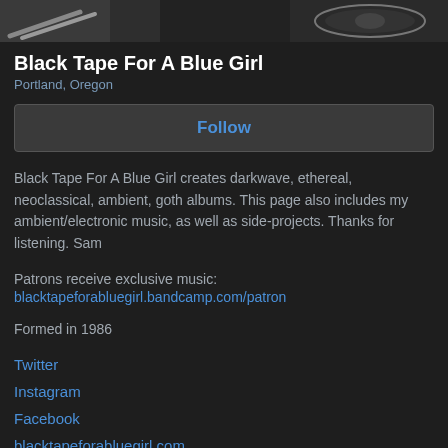[Figure (photo): Photo strip showing band/musician imagery with drum sticks visible on the left side and a cymbal/drum on the right side, dark background]
Black Tape For A Blue Girl
Portland, Oregon
Follow
Black Tape For A Blue Girl creates darkwave, ethereal, neoclassical, ambient, goth albums. This page also includes my ambient/electronic music, as well as side-projects. Thanks for listening. Sam
Patrons receive exclusive music:
blacktapeforabluegirl.bandcamp.com/patron
Formed in 1986
Twitter
Instagram
Facebook
blacktapeforabluegirl.com
Recommendations